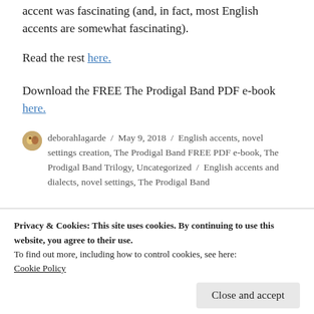accent was fascinating (and, in fact, most English accents are somewhat fascinating).
Read the rest here.
Download the FREE The Prodigal Band PDF e-book here.
deborahlagarde / May 9, 2018 / English accents, novel settings creation, The Prodigal Band FREE PDF e-book, The Prodigal Band Trilogy, Uncategorized / English accents and dialects, novel settings, The Prodigal Band
Privacy & Cookies: This site uses cookies. By continuing to use this website, you agree to their use.
To find out more, including how to control cookies, see here: Cookie Policy
Close and accept
Trilogy, The Way, Part